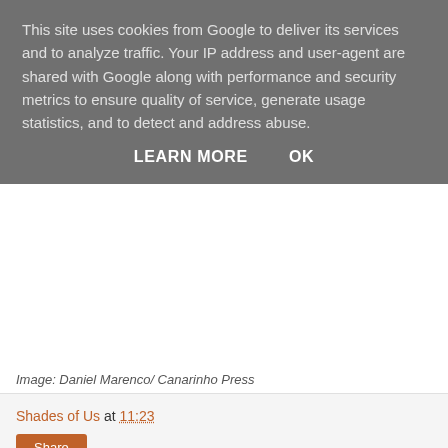This site uses cookies from Google to deliver its services and to analyze traffic. Your IP address and user-agent are shared with Google along with performance and security metrics to ensure quality of service, generate usage statistics, and to detect and address abuse.
LEARN MORE   OK
Image: Daniel Marenco/ Canarinho Press
Shades of Us at 11:23
Share
1 comment:
Kerry Schultz  23 November 2017 at 11:41
hey ramatu thanks for sharing this emotional piece it has been such an eye opener i hardly knew people had to deal with this challeges after reading this piece i had had to question whether is my buyessays in au good for